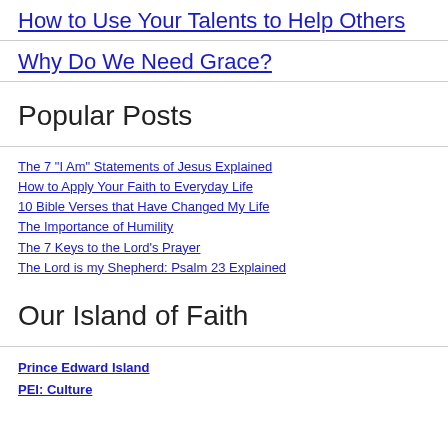How to Use Your Talents to Help Others
Why Do We Need Grace?
Popular Posts
The 7 "I Am" Statements of Jesus Explained
How to Apply Your Faith to Everyday Life
10 Bible Verses that Have Changed My Life
The Importance of Humility
The 7 Keys to the Lord's Prayer
The Lord is my Shepherd: Psalm 23 Explained
Our Island of Faith
Prince Edward Island
PEI: Culture